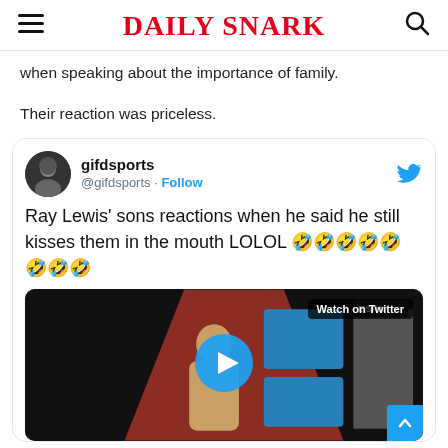Daily Snark
when speaking about the importance of family.
Their reaction was priceless.
[Figure (screenshot): Embedded tweet from @gifdsports with text: Ray Lewis' sons reactions when he said he still kisses them in the mouth LOLOL 🤣🤣🤣🤣🤣🤣🤣🤣 with a video thumbnail showing Ray Lewis on stage with a Watch on Twitter overlay and play button]